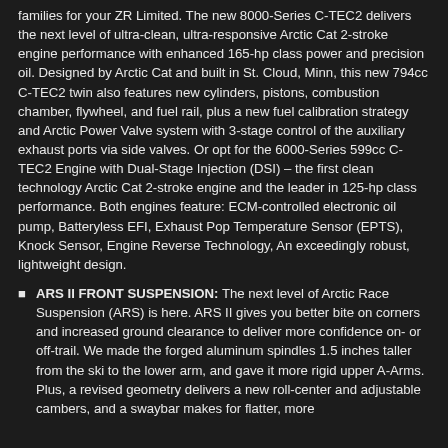families for your ZR Limited. The new 8000-Series C-TEC2 delivers the next level of ultra-clean, ultra-responsive Arctic Cat 2-stroke engine performance with enhanced 165-hp class power and precision oil. Designed by Arctic Cat and built in St. Cloud, Minn, this new 794cc C-TEC2 twin also features new cylinders, pistons, combustion chamber, flywheel, and fuel rail, plus a new fuel calibration strategy and Arctic Power Valve system with 3-stage control of the auxiliary exhaust ports via side valves. Or opt for the 6000-Series 599cc C-TEC2 Engine with Dual-Stage Injection (DSI) – the first clean technology Arctic Cat 2-stroke engine and the leader in 125-hp class performance. Both engines feature: ECM-controlled electronic oil pump, Batteryless EFI, Exhaust Pop Temperature Sensor (EPTS), Knock Sensor, Engine Reverse Technology, An exceedingly robust, lightweight design.
ARS II FRONT SUSPENSION: The next level of Arctic Race Suspension (ARS) is here. ARS II gives you better bite on corners and increased ground clearance to deliver more confidence on- or off-trail. We made the forged aluminum spindles 1.5 inches taller from the ski to the lower arm, and gave it more rigid upper A-Arms. Plus, a revised geometry delivers a new roll-center and adjustable cambers, and a swaybar makes for flatter, more